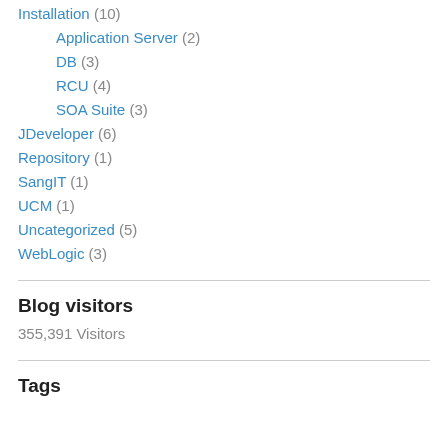Installation (10)
Application Server (2)
DB (3)
RCU (4)
SOA Suite (3)
JDeveloper (6)
Repository (1)
SangIT (1)
UCM (1)
Uncategorized (5)
WebLogic (3)
Blog visitors
355,391 Visitors
Tags